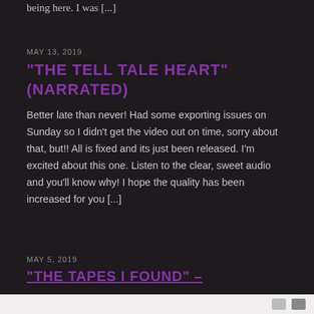being here. I was [...]
MAY 13, 2019
“THE TELL TALE HEART” (NARRATED)
Better late than never! Had some exporting issues on Sunday so I didn’t get the video out on time, sorry about that, but!! All is fixed and its just been released. I’m excited about this one. Listen to the clear, sweet audio and you’ll know why! I hope the quality has been increased for you [...]
MAY 5, 2019
“THE TAPES I FOUND” –